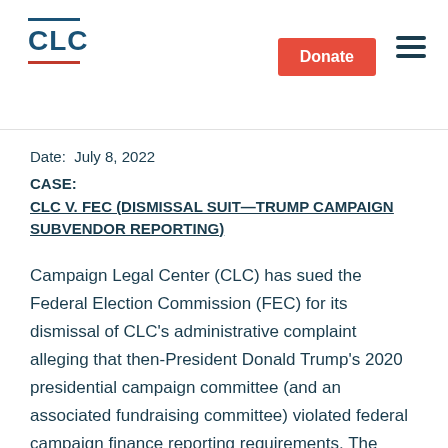CLC
Date:  July 8, 2022
CASE:
CLC V. FEC (DISMISSAL SUIT—TRUMP CAMPAIGN SUBVENDOR REPORTING)
Campaign Legal Center (CLC) has sued the Federal Election Commission (FEC) for its dismissal of CLC's administrative complaint alleging that then-President Donald Trump's 2020 presidential campaign committee (and an associated fundraising committee) violated federal campaign finance reporting requirements. The lawsuit is based on an